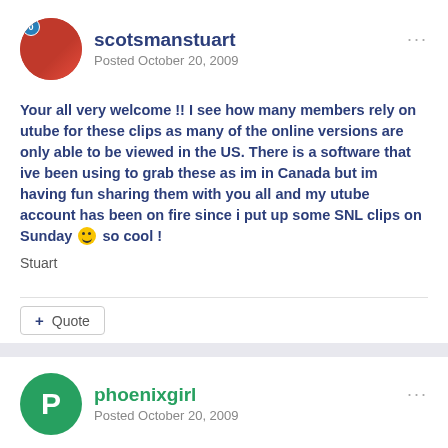scotsmanstuart
Posted October 20, 2009
Your all very welcome !! I see how many members rely on utube for these clips as many of the online versions are only able to be viewed in the US. There is a software that ive been using to grab these as im in Canada but im having fun sharing them with you all and my utube account has been on fire since i put up some SNL clips on Sunday 🙂 so cool !
Stuart
phoenixgirl
Posted October 20, 2009
Wow, Swannie, you hit the nail on the head, my friend. I think I have on